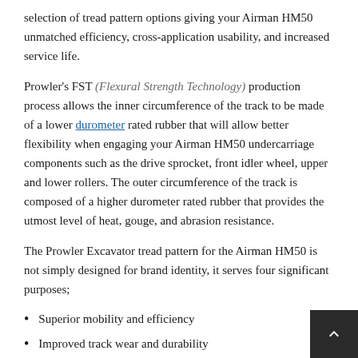selection of tread pattern options giving your Airman HM50 unmatched efficiency, cross-application usability, and increased service life.
Prowler's FST (Flexural Strength Technology) production process allows the inner circumference of the track to be made of a lower durometer rated rubber that will allow better flexibility when engaging your Airman HM50 undercarriage components such as the drive sprocket, front idler wheel, upper and lower rollers. The outer circumference of the track is composed of a higher durometer rated rubber that provides the utmost level of heat, gouge, and abrasion resistance.
The Prowler Excavator tread pattern for the Airman HM50 is not simply designed for brand identity, it serves four significant purposes;
Superior mobility and efficiency
Improved track wear and durability
Reduced track vibration